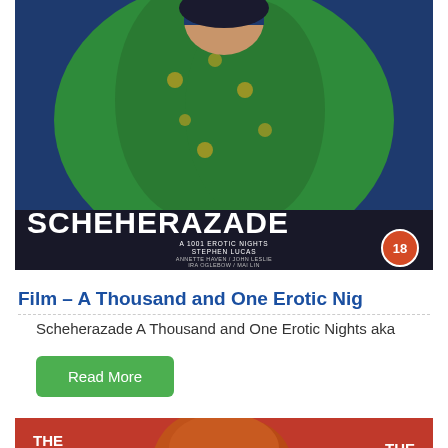[Figure (photo): DVD/VHS cover of 'Scheherazade' showing a woman in a green outfit against a blue background, with the title SCHEHERAZADE in large white letters, subtitle 'A 1001 Erotic Nights' and director 'STEPHEN LUCAS', cast 'ANNETTE HAVEN / JOHN LESLIE / IRA OGLEBOW / MAI LIN', and an 18 rating badge.]
Film – A Thousand and One Erotic Nig
Scheherazade A Thousand and One Erotic Nights aka
Read More
[Figure (photo): Movie cover with red background showing a woman with auburn hair, text 'THE EXPECTATION' on the left and 'THE EXPERIENCE' on the right.]